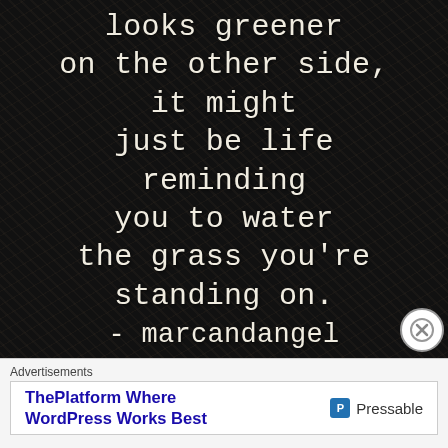[Figure (illustration): Dark wood-grain textured background with white monospaced typewriter text reading the quote: 'looks greener on the other side, it might just be life reminding you to water the grass you're standing on. - marcandangel']
Advertisements
ThePlatform Where WordPress Works Best  P Pressable